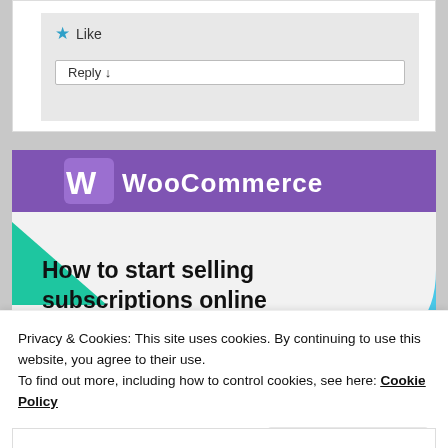[Figure (screenshot): Comment section UI with a star Like button and a Reply button on a grey background inside a white card]
[Figure (illustration): WooCommerce promotional banner with purple header bar showing WooCommerce logo, teal/green triangle shape on lower left, blue curved shape on lower right, and bold text reading 'How to start selling subscriptions online']
Privacy & Cookies: This site uses cookies. By continuing to use this website, you agree to their use.
To find out more, including how to control cookies, see here: Cookie Policy
Close and accept